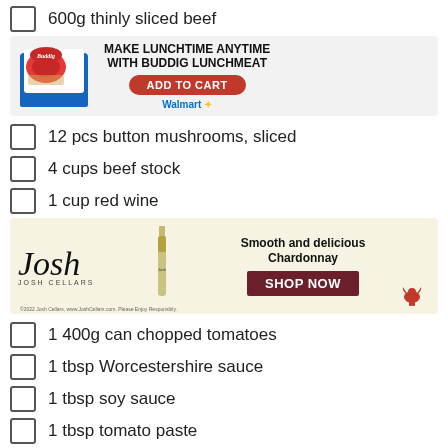600g thinly sliced beef
[Figure (infographic): Buddig lunchmeat advertisement banner. Shows Buddig package image on left. Text: MAKE LUNCHTIME ANYTIME WITH BUDDIG LUNCHMEAT. Red oval button: ADD TO CART. Walmart Grocery logo at bottom.]
12 pcs button mushrooms, sliced
4 cups beef stock
1 cup red wine
[Figure (infographic): Josh Cellars wine advertisement. Cream/beige background. Josh Cellars cursive logo on left with wine bottle illustration. Text: Smooth and delicious Chardonnay. Dark red button: SHOP NOW. Fine print at bottom left: ©2022 Josh Cellars, www.JoshCellars.com. Please Enjoy Responsibly. Red bull logo bottom right.]
1 400g can chopped tomatoes
1 tbsp Worcestershire sauce
1 tbsp soy sauce
1 tbsp tomato paste